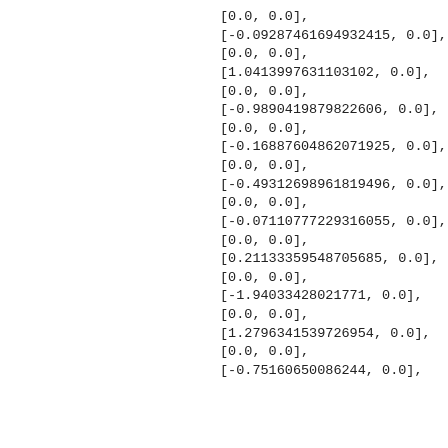[0.0, 0.0],
[-0.09287461694932415, 0.0],
[0.0, 0.0],
[1.0413997631103102, 0.0],
[0.0, 0.0],
[-0.9890419879822606, 0.0],
[0.0, 0.0],
[-0.16887604862071925, 0.0],
[0.0, 0.0],
[-0.49312698961819496, 0.0],
[0.0, 0.0],
[-0.07110777229316055, 0.0],
[0.0, 0.0],
[0.21133359548705685, 0.0],
[0.0, 0.0],
[-1.94033428021771, 0.0],
[0.0, 0.0],
[1.27963415397269 54, 0.0],
[0.0, 0.0],
[-0.75160650086244, 0.0],